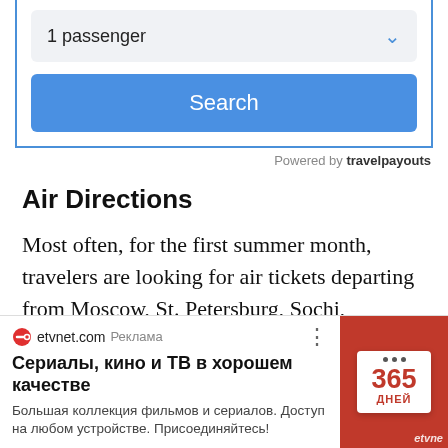[Figure (screenshot): Passenger dropdown selector showing '1 passenger' with a blue chevron, and a blue 'Search' button below, all in a bordered widget.]
Powered by travelpayouts
Air Directions
Most often, for the first summer month, travelers are looking for air tickets departing from Moscow, St. Petersburg, Sochi, Yekaterinburg and Kazan. From the
[Figure (screenshot): Advertisement bar: etvnet.com ad with logo, 'Реклама' label, three-dot menu, headline 'Сериалы, кино и ТВ в хорошем качестве', body text 'Большая коллекция фильмов и сериалов. Доступ на любом устройстве. Присоединяйтесь!', and a red image with a 365-day calendar graphic and etvnet logo.]